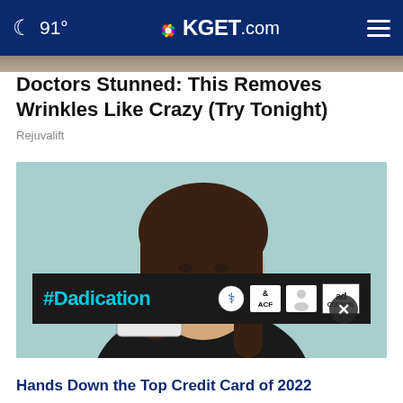91° KGET.com
Doctors Stunned: This Removes Wrinkles Like Crazy (Try Tonight)
Rejuvalift
[Figure (photo): Young woman with long dark hair smiling and holding a credit card, pointing at it with her finger. Light teal/blue background. A dark overlay ad banner at the bottom reads '#Dadication' with ACF and Ad Council logos. A round close button is visible at lower right.]
Hands Down the Top Credit Card of 2022